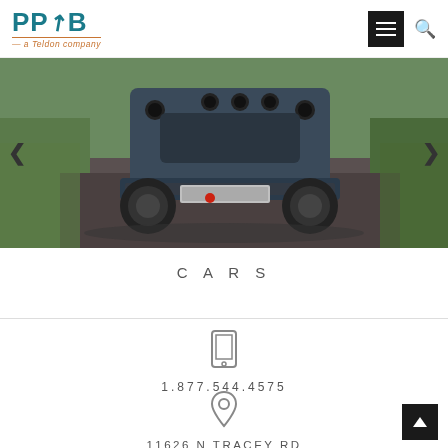[Figure (logo): PPRB logo with teal text and 'a Teldon company' subtitle in orange]
[Figure (photo): Rear view of a dark blue/grey classic car (Corvette) on a road surrounded by greenery]
CARS
[Figure (illustration): Phone/mobile device icon]
1.877.544.4575
[Figure (illustration): Location pin/map marker icon]
11626 N TRACEY RD
HAYDEN, ID 83835